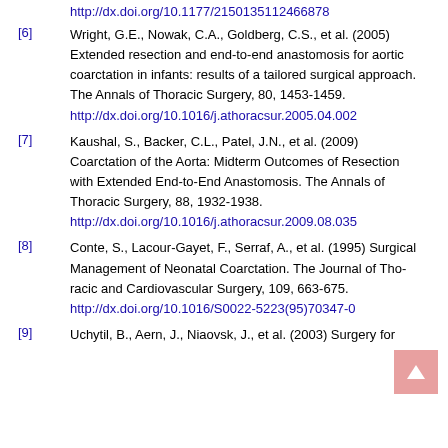http://dx.doi.org/10.1177/2150135112466878
[6] Wright, G.E., Nowak, C.A., Goldberg, C.S., et al. (2005) Extended resection and end-to-end anastomosis for aortic coarctation in infants: results of a tailored surgical approach. The Annals of Thoracic Surgery, 80, 1453-1459. http://dx.doi.org/10.1016/j.athoracsur.2005.04.002
[7] Kaushal, S., Backer, C.L., Patel, J.N., et al. (2009) Coarctation of the Aorta: Midterm Outcomes of Resection with Extended End-to-End Anastomosis. The Annals of Thoracic Surgery, 88, 1932-1938. http://dx.doi.org/10.1016/j.athoracsur.2009.08.035
[8] Conte, S., Lacour-Gayet, F., Serraf, A., et al. (1995) Surgical Management of Neonatal Coarctation. The Journal of Thoracic and Cardiovascular Surgery, 109, 663-675. http://dx.doi.org/10.1016/S0022-5223(95)70347-0
[9] Uchytil, B., Aern, J., Niaovsk, J., et al. (2003) Surgery for